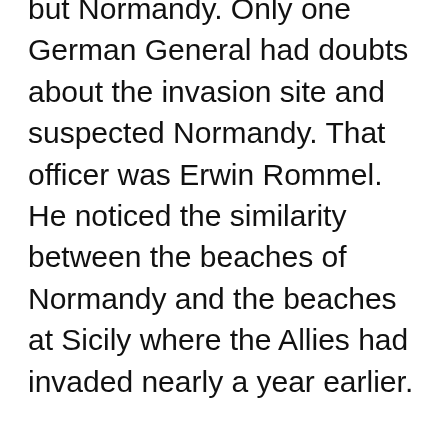but Normandy. Only one German General had doubts about the invasion site and suspected Normandy. That officer was Erwin Rommel. He noticed the similarity between the beaches of Normandy and the beaches at Sicily where the Allies had invaded nearly a year earlier.

Once on the beaches of Normandy, every person did their utmost to stay alive. Some